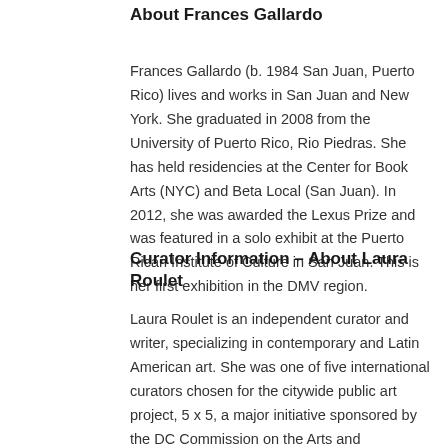About Frances Gallardo
Frances Gallardo (b. 1984 San Juan, Puerto Rico) lives and works in San Juan and New York. She graduated in 2008 from the University of Puerto Rico, Rio Piedras. She has held residencies at the Center for Book Arts (NYC) and Beta Local (San Juan). In 2012, she was awarded the Lexus Prize and was featured in a solo exhibit at the Puerto Rican Institute of Culture in San Juan. This is her first exhibition in the DMV region.
Curator Information – About Laura Roulet
Laura Roulet is an independent curator and writer, specializing in contemporary and Latin American art. She was one of five international curators chosen for the citywide public art project, 5 x 5, a major initiative sponsored by the DC Commission on the Arts and Humanities in 2012. She has organized exhibitions in